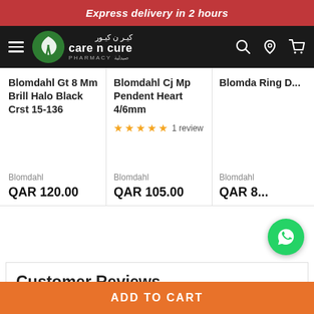Express delivery in 2 hours
[Figure (logo): Care N Cure Pharmacy logo with green leaf icon and navigation bar with hamburger menu, search, location, and cart icons]
Blomdahl Gt 8 Mm Brill Halo Black Crst 15-136
Blomdahl Cj Mp Pendent Heart 4/6mm ★★★★★ 1 review
Blomdahl Ring D...
Blomdahl
QAR 120.00
Blomdahl
QAR 105.00
Blomdahl
QAR 8...
Customer Reviews
ADD TO CART